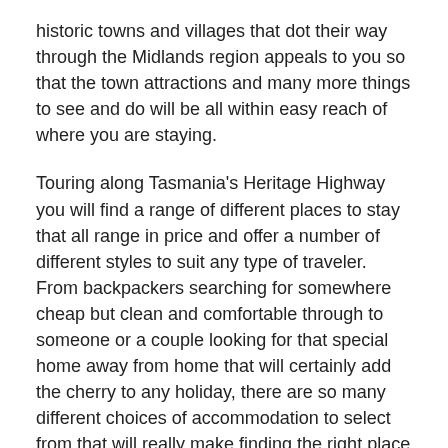historic towns and villages that dot their way through the Midlands region appeals to you so that the town attractions and many more things to see and do will be all within easy reach of where you are staying.
Touring along Tasmania's Heritage Highway you will find a range of different places to stay that all range in price and offer a number of different styles to suit any type of traveler. From backpackers searching for somewhere cheap but clean and comfortable through to someone or a couple looking for that special home away from home that will certainly add the cherry to any holiday, there are so many different choices of accommodation to select from that will really make finding the right place of accommodation very easy.
From caravan parks where you can pitch a tent or park your motorhome to staying in a budget motor inn with an onsite restaurant and offering a swimming pool to